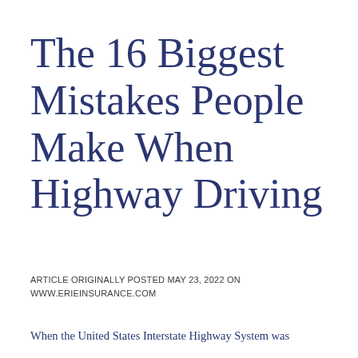The 16 Biggest Mistakes People Make When Highway Driving
ARTICLE ORIGINALLY POSTED MAY 23, 2022 ON WWW.ERIEINSURANCE.COM
When the United States Interstate Highway System was